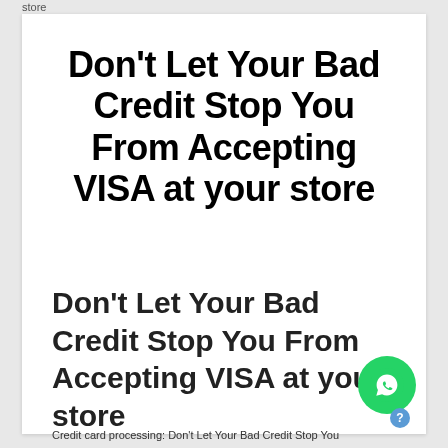store
Don't Let Your Bad Credit Stop You From Accepting VISA at your store
Don't Let Your Bad Credit Stop You From Accepting VISA at your store
Credit card processing: Don't Let Your Bad Credit Stop You